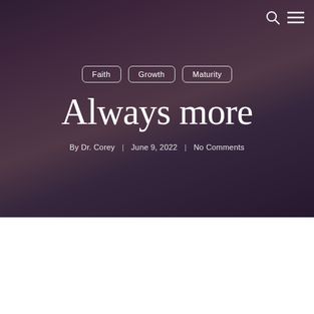[Figure (photo): Hero image showing silhouettes of graduates celebrating at sunset, with dark purple/maroon overlay]
search icon | menu icon
Faith
Growth
Maturity
Always more
By Dr. Corey | June 9, 2022 | No Comments
Home » Always more